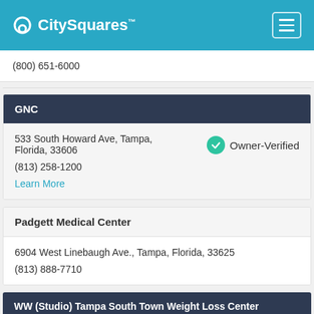CitySquares
(800) 651-6000
GNC
533 South Howard Ave, Tampa, Florida, 33606
Owner-Verified
(813) 258-1200
Learn More
Padgett Medical Center
6904 West Linebaugh Ave., Tampa, Florida, 33625
(813) 888-7710
WW (Studio) Tampa South Town Weight Loss Center